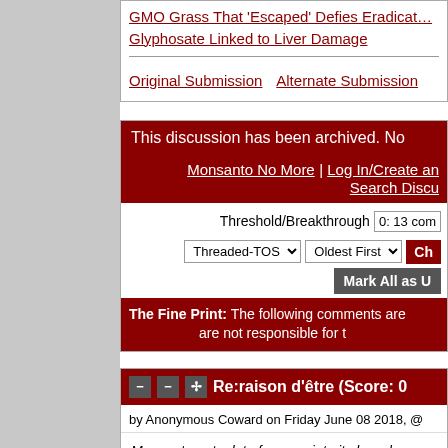GMO Grass That 'Escaped' Defies Eradication
Glyphosate Linked to Liver Damage
Original Submission   Alternate Submission
This discussion has been archived. No
Monsanto No More | Log In/Create an
Search Discu
Threshold/Breakthrough   0: 13 com
Threaded-TOS   Oldest First   Ch
Mark All as U
The Fine Print: The following comments are
are not responsible for t
Re:raison d'être (Score: 0
by Anonymous Coward on Friday June 08 2018, @
Monsanto put a lot of money into its brand
And they made tons more by selling it, like